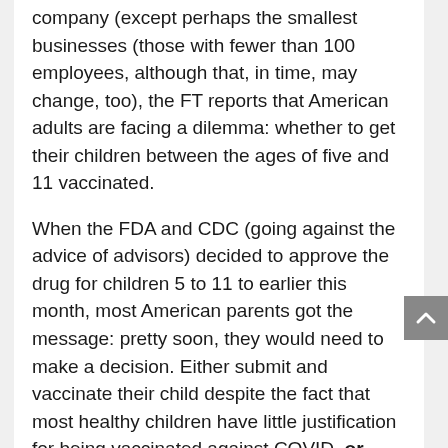company (except perhaps the smallest businesses (those with fewer than 100 employees, although that, in time, may change, too), the FT reports that American adults are facing a dilemma: whether to get their children between the ages of five and 11 vaccinated.
When the FDA and CDC (going against the advice of advisors) decided to approve the drug for children 5 to 11 to earlier this month, most American parents got the message: pretty soon, they would need to make a decision. Either submit and vaccinate their child despite the fact that most healthy children have little justification for being vaccinated against COVID, or watch as the public education and other services guaranteed their child by the American laws, and the Constitution (although judicial precedent has complicated things a bit) have systemically denied to their children, all because worried parents had concerns about the long-term impact of vaccination – particularly